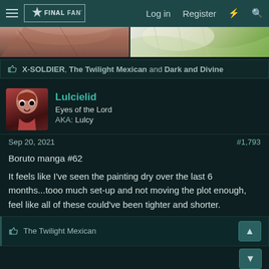Log in  Register
[Figure (screenshot): Two manga/anime-style cropped images side by side — left shows a character with dark tones, right shows a character with light/green tones]
X-SOLDIER, The Twilight Mexican and Dark and Divine
Lulcielid
Eyes of the Lord
AKA: Lulcy
Sep 20, 2021   #1,793
Boruto manga #62
It feels like I've seen the painting dry over the last 6 months...tooo much set-up and not moving the plot enough, feel like all of these could've been tighter and shorter.
The Twilight Mexican
Makoeyes987
Listen closely, there is meaning in my words.